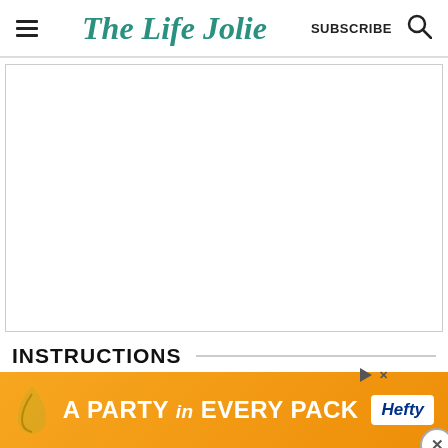The Life Jolie — SUBSCRIBE
[Figure (screenshot): Large white/blank content area within a bordered box, likely a recipe image placeholder]
INSTRUCTIONS
1. (partially visible step text)
[Figure (other): Advertisement banner: A PARTY in EVERY PACK — Hefty brand ad with orange background]